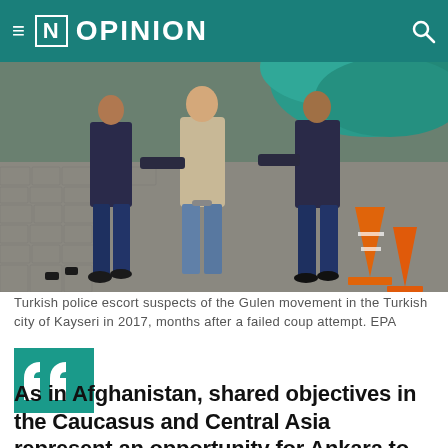≡ [N] OPINION
[Figure (photo): Turkish police escorting suspects in the street, people walking on cobblestone pavement, orange traffic cones visible]
Turkish police escort suspects of the Gulen movement in the Turkish city of Kayseri in 2017, months after a failed coup attempt. EPA
[Figure (illustration): Large teal quotation mark graphic]
As in Afghanistan, shared objectives in the Caucasus and Central Asia represent an opportunity for Ankara to work with Washington and Brussels